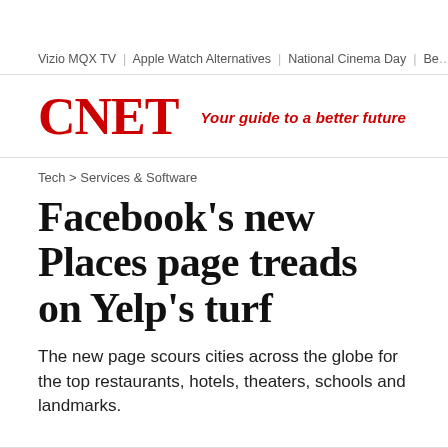Vizio MQX TV  |  Apple Watch Alternatives  |  National Cinema Day  |  Be…
CNET  Your guide to a better future
Tech > Services & Software
Facebook's new Places page treads on Yelp's turf
The new page scours cities across the globe for the top restaurants, hotels, theaters, schools and landmarks.